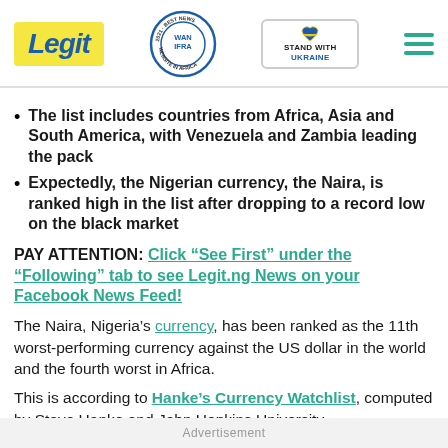Legit | WAN-IFRA 2021 Best News Website in Africa | Stand With Ukraine
The list includes countries from Africa, Asia and South America, with Venezuela and Zambia leading the pack
Expectedly, the Nigerian currency, the Naira, is ranked high in the list after dropping to a record low on the black market
PAY ATTENTION: Click “See First” under the “Following” tab to see Legit.ng News on your Facebook News Feed!
The Naira, Nigeria’s currency, has been ranked as the 11th worst-performing currency against the US dollar in the world and the fourth worst in Africa.
This is according to Hanke’s Currency Watchlist, computed by Steve Hanke and John Hopkins University.
Advertisement